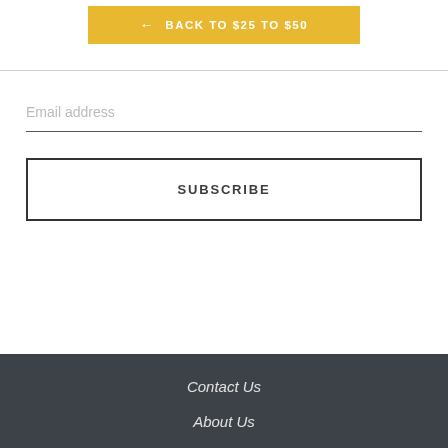← BACK TO $25 TO $50
Email address
SUBSCRIBE
Contact Us
About Us